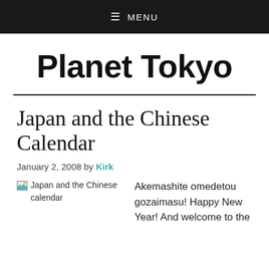≡ MENU
Planet Tokyo
Japan and the Chinese Calendar
January 2, 2008 by Kirk
[Figure (photo): Japan and the Chinese calendar — broken image placeholder]
Akemashite omedetou gozaimasu! Happy New Year! And welcome to the